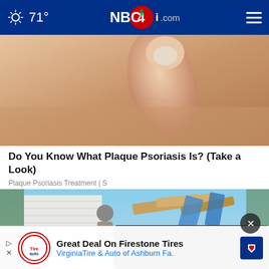71° NBC4i.com
[Figure (photo): Close-up of a hand touching skin, showing detail of fingers on bare skin — related to plaque psoriasis article]
Do You Know What Plaque Psoriasis Is? (Take a Look)
Plaque Psoriasis Treatment | S
[Figure (photo): Person standing outside near a house with damaged roof showing exposed wood and blue sheeting; a branded vehicle visible in background]
Great Deal On Firestone Tires  VirginiaTire & Auto of Ashburn Fa.